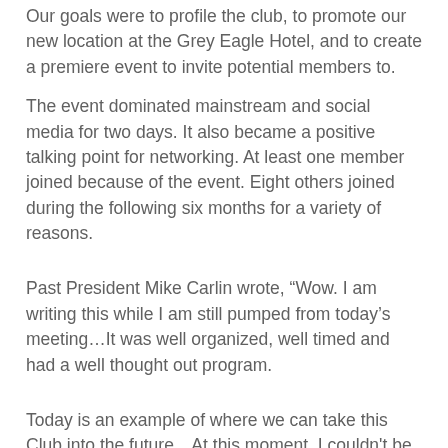Our goals were to profile the club, to promote our new location at the Grey Eagle Hotel, and to create a premiere event to invite potential members to.
The event dominated mainstream and social media for two days. It also became a positive talking point for networking. At least one member joined because of the event. Eight others joined during the following six months for a variety of reasons.
Past President Mike Carlin wrote, “Wow. I am writing this while I am still pumped from today’s meeting…It was well organized, well timed and had a well thought out program.
Today is an example of where we can take this Club into the future…At this moment, I couldn't be more proud to be a member of the Calgary West Rotary Club.”
Cain't say it any better.